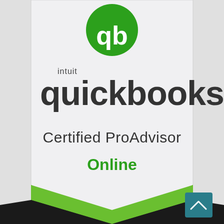[Figure (logo): QuickBooks Certified ProAdvisor Online badge. Shield shape with light grey background showing Intuit QuickBooks logo with green QB icon at top, text 'intuit quickbooks.' in dark grey, 'Certified ProAdvisor' in dark grey, 'Online' in green. Bottom portion has green and dark chevron/ribbon design.]